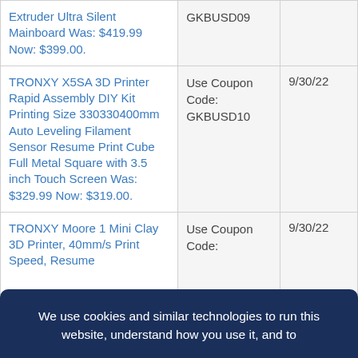| Product | Coupon/Code | Expiry |
| --- | --- | --- |
| Extruder Ultra Silent Mainboard Was: $419.99 Now: $399.00. | GKBUSD09 |  |
| TRONXY X5SA 3D Printer Rapid Assembly DIY Kit Printing Size 330330400mm Auto Leveling Filament Sensor Resume Print Cube Full Metal Square with 3.5 inch Touch Screen Was: $329.99 Now: $319.00. | Use Coupon Code: GKBUSD10 | 9/30/22 |
| TRONXY Moore 1 Mini Clay 3D Printer, 40mm/s Print Speed, Resume | Use Coupon Code: | 9/30/22 |
We use cookies and similar technologies to run this website, understand how you use it, and to